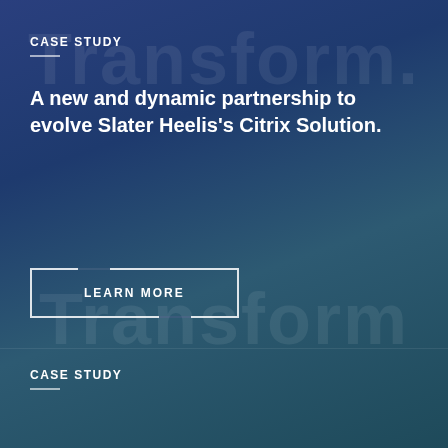CASE STUDY
A new and dynamic partnership to evolve Slater Heelis's Citrix Solution.
LEARN MORE
CASE STUDY